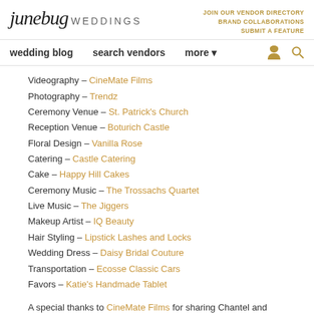junebug WEDDINGS | JOIN OUR VENDOR DIRECTORY BRAND COLLABORATIONS SUBMIT A FEATURE
wedding blog | search vendors | more
Videography – CineMate Films
Photography – Trendz
Ceremony Venue – St. Patrick's Church
Reception Venue – Boturich Castle
Floral Design – Vanilla Rose
Catering – Castle Catering
Cake – Happy Hill Cakes
Ceremony Music – The Trossachs Quartet
Live Music – The Jiggers
Makeup Artist – IQ Beauty
Hair Styling – Lipstick Lashes and Locks
Wedding Dress – Daisy Bridal Couture
Transportation – Ecosse Classic Cars
Favors – Katie's Handmade Tablet
A special thanks to CineMate Films for sharing Chantel and Niall's Scottish castle wedding with Junebug! For more DIY wedding inspiration, check out Carino and Chris' geometric inspired Irish